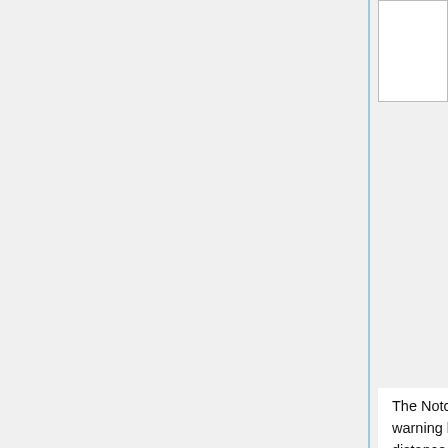|  |  |  | 4: set warning time | Warning Time |
|  |  |  | 5: set warning blocks | Warning Blocks |
The Notchian client determines how solid to display the warning by comparing to whichever is higher, the warning distance or whichever is lower, the distance from the current diameter to the target diameter or the place the border will be after warningTime seconds. In pseudocode: